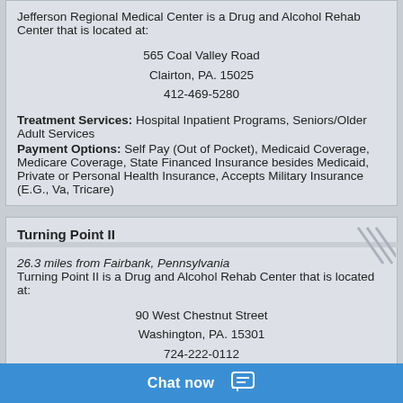Jefferson Regional Medical Center is a Drug and Alcohol Rehab Center that is located at:

565 Coal Valley Road
Clairton, PA. 15025
412-469-5280

Treatment Services: Hospital Inpatient Programs, Seniors/Older Adult Services
Payment Options: Self Pay (Out of Pocket), Medicaid Coverage, Medicare Coverage, State Financed Insurance besides Medicaid, Private or Personal Health Insurance, Accepts Military Insurance (E.G., Va, Tricare)
Turning Point II
26.3 miles from Fairbank, Pennsylvania
Turning Point II is a Drug and Alcohol Rehab Center that is located at:

90 West Chestnut Street
Washington, PA. 15301
724-222-0112

Treatment Services: Substance Abuse Programs, Outpatient Treatment
Payment Options: Self Pay (Out of Pocket), Medicaid Coverage, State Financed Insurance besides Medicaid, Private or Personal Health Insurance, Income B...